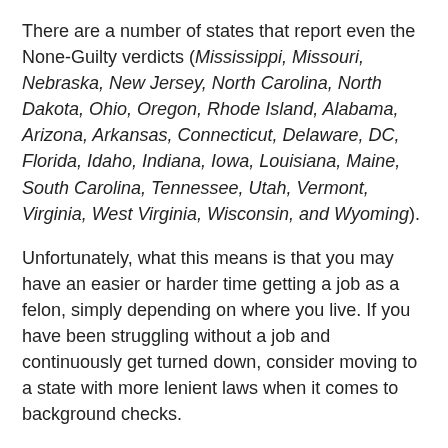There are a number of states that report even the None-Guilty verdicts (Mississippi, Missouri, Nebraska, New Jersey, North Carolina, North Dakota, Ohio, Oregon, Rhode Island, Alabama, Arizona, Arkansas, Connecticut, Delaware, DC, Florida, Idaho, Indiana, Iowa, Louisiana, Maine, South Carolina, Tennessee, Utah, Vermont, Virginia, West Virginia, Wisconsin, and Wyoming).
Unfortunately, what this means is that you may have an easier or harder time getting a job as a felon, simply depending on where you live. If you have been struggling without a job and continuously get turned down, consider moving to a state with more lenient laws when it comes to background checks.
These are: California, Colorado, Kansas, Maryland, Massachusetts, Montana, Nevada, New Hampshire, New York, Texas, and Washington.
Employment is offered on a case by